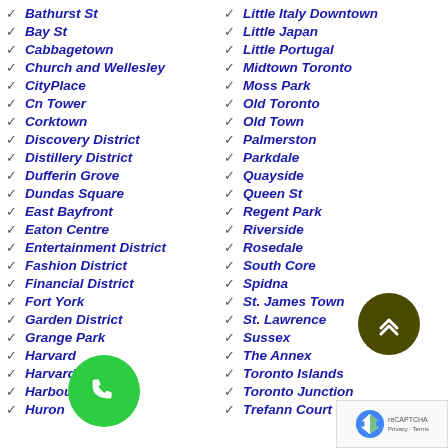Bathurst St
Bay St
Cabbagetown
Church and Wellesley
CityPlace
Cn Tower
Corktown
Discovery District
Distillery District
Dufferin Grove
Dundas Square
East Bayfront
Eaton Centre
Entertainment District
Fashion District
Financial District
Fort York
Garden District
Grange Park
Harvard
Harvard Village
Harbourfront
Huron
Little Italy Downtown
Little Japan
Little Portugal
Midtown Toronto
Moss Park
Old Toronto
Old Town
Palmerston
Parkdale
Quayside
Queen St
Regent Park
Riverside
Rosedale
South Core
Spidna
St. James Town
St. Lawrence
Sussex
The Annex
Toronto Islands
Toronto Junction
Trefann Court